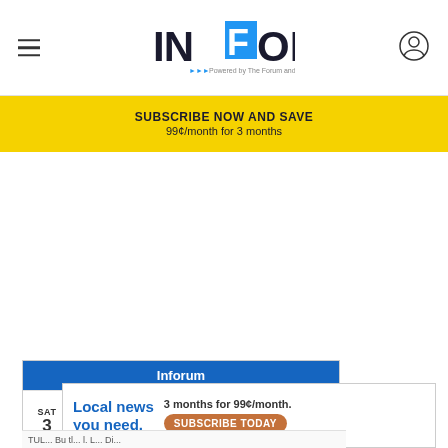INFORUM — Powered by The Forum and WDAY
SUBSCRIBE NOW AND SAVE
99¢/month for 3 months
[Figure (other): White blank content area (advertisement placeholder)]
Inforum
SAT
3
[Figure (other): Advertisement: Local news you need. 3 months for 99¢/month. SUBSCRIBE TODAY]